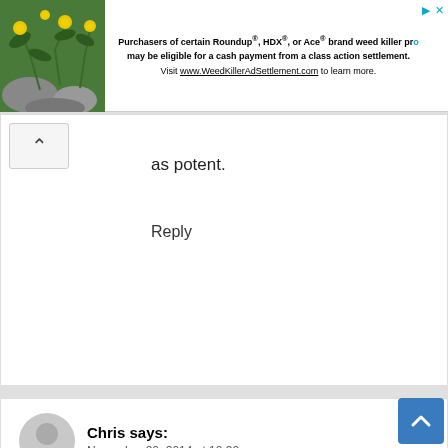[Figure (infographic): Advertisement banner with flower/plant photo on left and text about Roundup class action settlement on right. Text: Purchasers of certain Roundup®, HDX®, or Ace® brand weed killer products may be eligible for a cash payment from a class action settlement. Visit www.WeedKillerAdSettlement.com to learn more.]
as potent.
Reply
Chris says:
November 20, 2014 at 10:30 pm
Hum... must try, I can not stand ginger, fresh or the in tea but I don't mind the dried spice. I really want the benefits but I just can't do the ginger. Is there another herb that has all those same benefits?